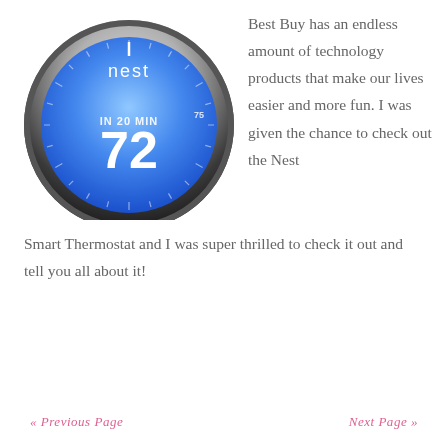[Figure (photo): Close-up photo of a Nest smart thermostat with a blue circular display showing '72' and 'IN 20 MIN', with the Nest logo visible at the top on a metallic ring.]
Best Buy has an endless amount of technology products that make our lives easier and more fun. I was given the chance to check out the Nest Smart Thermostat and I was super thrilled to check it out and tell you all about it!
« Previous Page    Next Page »